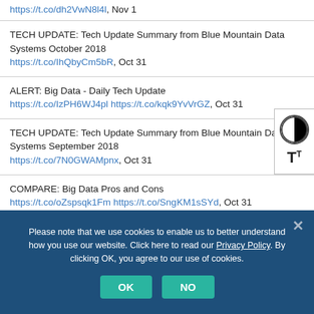https://t.co/dh2VwN8l4l, Nov 1
TECH UPDATE: Tech Update Summary from Blue Mountain Data Systems October 2018 https://t.co/IhQbyCm5bR, Oct 31
ALERT: Big Data - Daily Tech Update https://t.co/IzPH6WJ4pl https://t.co/kqk9YvVrGZ, Oct 31
TECH UPDATE: Tech Update Summary from Blue Mountain Data Systems September 2018 https://t.co/7N0GWAMpnx, Oct 31
COMPARE: Big Data Pros and Cons https://t.co/oZspsqk1Fm https://t.co/SngKM1sSYd, Oct 31
Please note that we use cookies to enable us to better understand how you use our website. Click here to read our Privacy Policy. By clicking OK, you agree to our use of cookies.